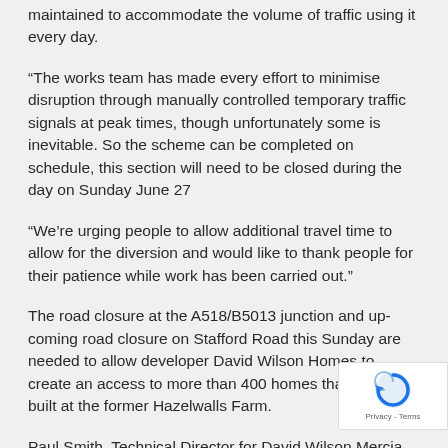maintained to accommodate the volume of traffic using it every day.
“The works team has made every effort to minimise disruption through manually controlled temporary traffic signals at peak times, though unfortunately some is inevitable. So the scheme can be completed on schedule, this section will need to be closed during the day on Sunday June 27
“We’re urging people to allow additional travel time to allow for the diversion and would like to thank people for their patience while work has been carried out.”
The road closure at the A518/B5013 junction and up-coming road closure on Stafford Road this Sunday are needed to allow developer David Wilson Homes to create an access to more than 400 homes that are being built at the former Hazelwalls Farm.
Paul Smith, Technical Director for David Wilson Mercia, said: “Due to delays around statutory se beyond our control, the planned work has taken longer